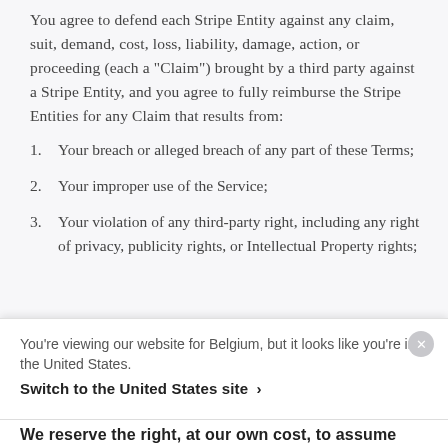You agree to defend each Stripe Entity against any claim, suit, demand, cost, loss, liability, damage, action, or proceeding (each a "Claim") brought by a third party against a Stripe Entity, and you agree to fully reimburse the Stripe Entities for any Claim that results from:
Your breach or alleged breach of any part of these Terms;
Your improper use of the Service;
Your violation of any third-party right, including any right of privacy, publicity rights, or Intellectual Property rights;
You're viewing our website for Belgium, but it looks like you're in the United States.
Switch to the United States site ›
We reserve the right, at our own cost, to assume